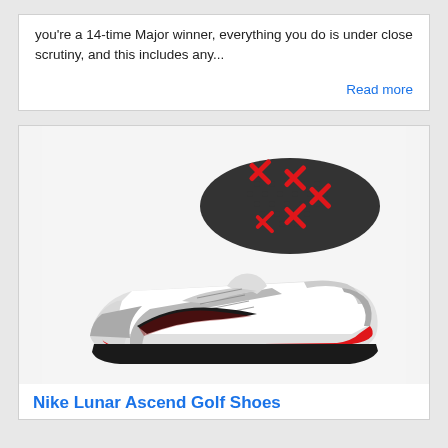you're a 14-time Major winner, everything you do is under close scrutiny, and this includes any...
Read more
[Figure (photo): Nike Lunar Ascend golf shoes product photo showing two shoes — one displayed from the side (white/gray/black with red Nike swoosh) and one from the bottom showing red and black cleat sole pattern.]
Nike Lunar Ascend Golf Shoes